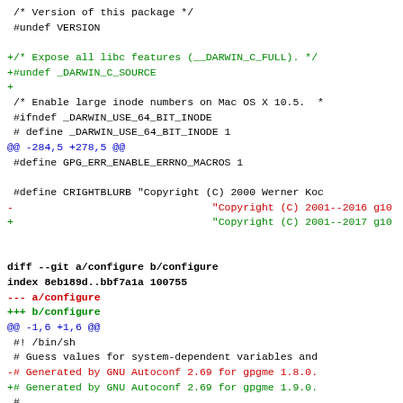diff --git a/configure b/configure code block showing context, added and removed lines for a git diff of configure file